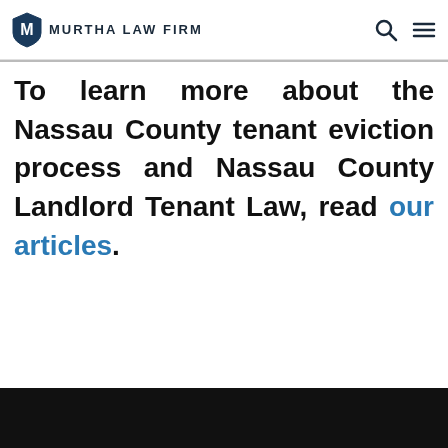MURTHA LAW FIRM
To learn more about the Nassau County tenant eviction process and Nassau County Landlord Tenant Law, read our articles.